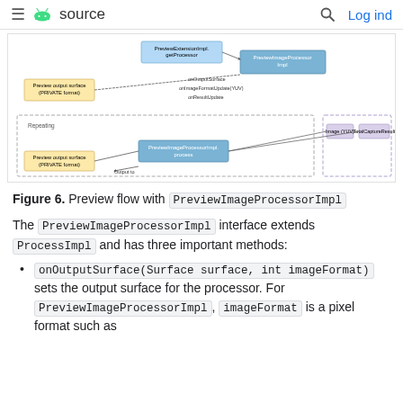≡  source   🔍  Log ind
[Figure (flowchart): Preview flow diagram showing PreviewExtensionImpl.getProcessor, PreviewImageProcessorImpl with onOutputSurface, onImageFormatUpdate(YUV), onResultUpdate calls, and Repeating section with Preview output surface (PRIVATE format), PreviewImageProcessorImpl.process, Image (YUV), TotalCaptureResult, and Output to arrow.]
Figure 6. Preview flow with PreviewImageProcessorImpl
The PreviewImageProcessorImpl interface extends ProcessImpl and has three important methods:
onOutputSurface(Surface surface, int imageFormat) sets the output surface for the processor. For PreviewImageProcessorImpl, imageFormat is a pixel format such as